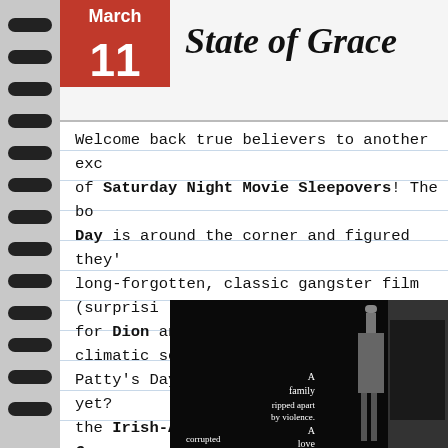March 11
State of Grace
Welcome back true believers to another exciting episode of Saturday Night Movie Sleepovers! The boys St. Patrick's Day is around the corner and figured they'd cover a long-forgotten, classic gangster film (surprisingly new for Dion and Blake), that has its climatic scene set at a St. Patty's Day Parade. Haven't guessed it yet? We're covering the Irish-American Mob film State of Grace,
[Figure (photo): Movie poster for State of Grace showing a dark silhouetted figure against a black background with text: 'A family ripped apart by violence. A love corrupted']